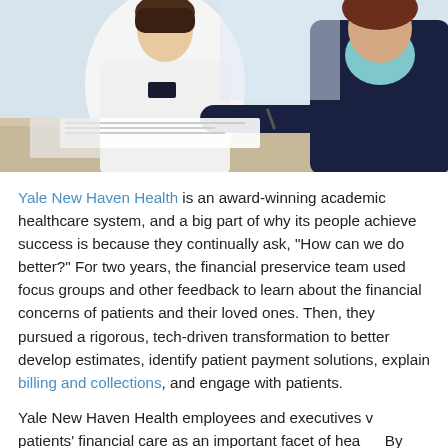[Figure (photo): Two women at a desk — one in a white uniform (healthcare worker) and one in a dark cardigan — exchanging or signing documents.]
Yale New Haven Health is an award-winning academic healthcare system, and a big part of why its people achieve success is because they continually ask, “How can we do better?” For two years, the financial preservice team used focus groups and other feedback to learn about the financial concerns of patients and their loved ones. Then, they pursued a rigorous, tech-driven transformation to better develop estimates, identify patient payment solutions, explain billing and collections, and engage with patients.
Yale New Haven Health employees and executives v... patients’ financial care as an important facet of hea... By pairing their own dedication and know-how with